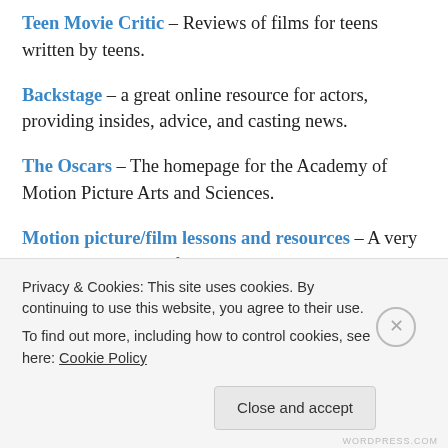Teen Movie Critic – Reviews of films for teens written by teens.
Backstage – a great online resource for actors, providing insides, advice, and casting news.
The Oscars – The homepage for the Academy of Motion Picture Arts and Sciences.
Motion picture/film lessons and resources – A very comprehensive set of links, provided by the Media Literacy Clearinghouse.
Privacy & Cookies: This site uses cookies. By continuing to use this website, you agree to their use.
To find out more, including how to control cookies, see here: Cookie Policy